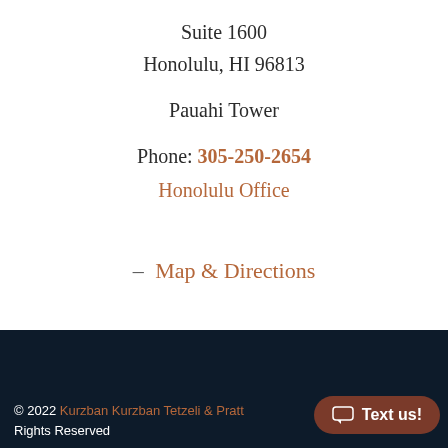Suite 1600
Honolulu, HI 96813
Pauahi Tower
Phone: 305-250-2654
Honolulu Office
– Map & Directions
© 2022 Kurzban Kurzban Tetzeli & Pratt Rights Reserved